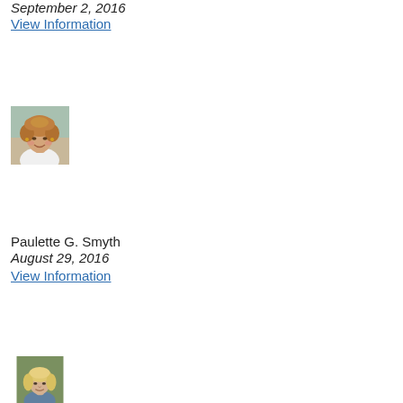September 2, 2016
View Information
[Figure (photo): Portrait photo of a woman with short curly hair, smiling, wearing white]
Paulette G. Smyth
August 29, 2016
View Information
[Figure (photo): Portrait photo of a woman with light blonde hair]